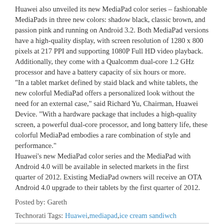Huawei also unveiled its new MediaPad color series – fashionable MediaPads in three new colors: shadow black, classic brown, and passion pink and running on Android 3.2. Both MediaPad versions have a high-quality display, with screen resolution of 1280 x 800 pixels at 217 PPI and supporting 1080P Full HD video playback. Additionally, they come with a Qualcomm dual-core 1.2 GHz processor and have a battery capacity of six hours or more. "In a tablet market defined by staid black and white tablets, the new colorful MediaPad offers a personalized look without the need for an external case," said Richard Yu, Chairman, Huawei Device. "With a hardware package that includes a high-quality screen, a powerful dual-core processor, and long battery life, these colorful MediaPad embodies a rare combination of style and performance." Huawei's new MediaPad color series and the MediaPad with Android 4.0 will be available in selected markets in the first quarter of 2012. Existing MediaPad owners will receive an OTA Android 4.0 upgrade to their tablets by the first quarter of 2012.
Posted by: Gareth
Technorati Tags: Huawei,mediapad,ice cream sandiwch
Share this:
Twitter
Facebook
Reddit
Pinterest